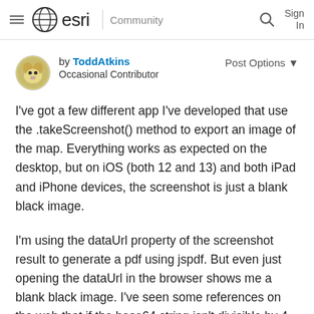esri Community
by ToddAtkins
Occasional Contributor
Post Options ▼
I've got a few different app I've developed that use the .takeScreenshot() method to export an image of the map. Everything works as expected on the desktop, but on iOS (both 12 and 13) and both iPad and iPhone devices, the screenshot is just a blank black image.
I'm using the dataUrl property of the screenshot result to generate a pdf using jspdf. But even just opening the dataUrl in the browser shows me a blank black image. I've seen some references on the web that if the base64 string isn't divisible by 4 then it